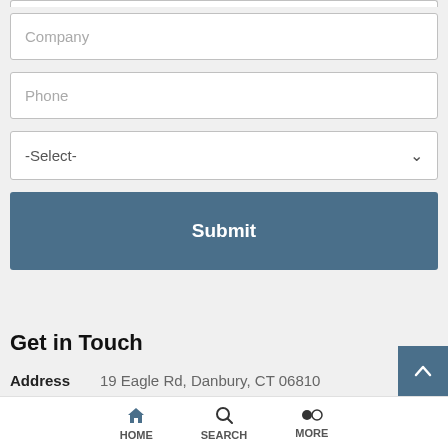Company
Phone
-Select-
Submit
Get in Touch
Address    19 Eagle Rd, Danbury, CT 06810
Email    sales@c...optic...rm
Phone    (203) 7...2219
HOME   SEARCH   MORE